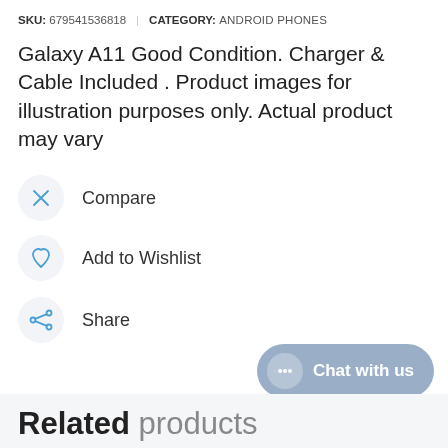SKU: 679541536818 | CATEGORY: ANDROID PHONES
Galaxy A11 Good Condition. Charger & Cable Included . Product images for illustration purposes only. Actual product may vary
Compare
Add to Wishlist
Share
[Figure (infographic): Chat with us button with speech bubble icon]
Related products